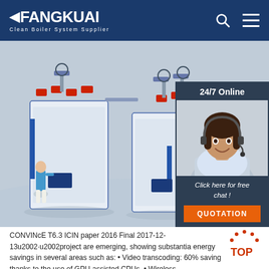[Figure (logo): FangKuai Clean Boiler System Supplier logo in white on dark blue header bar]
[Figure (photo): Hero image of industrial clean boiler systems in a facility, with a person standing beside them. Overlay sidebar shows a customer service representative with headset, '24/7 Online' label, 'Click here for free chat!' text, and an orange QUOTATION button.]
CONVINcE T6.3 ICIN paper 2016 Final 2017-12-13u2002·u2002project are emerging, showing substantial energy savings in several areas such as: • Video transcoding: 60% saving thanks to the use of GPU-assisted CPUs, • Wireless